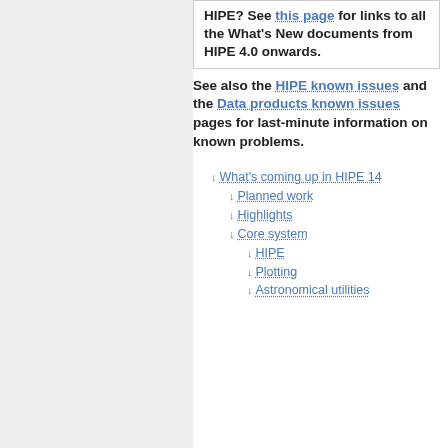HIPE? See this page for links to all the What's New documents from HIPE 4.0 onwards.
See also the HIPE known issues and the Data products known issues pages for last-minute information on known problems.
↓ What's coming up in HIPE 14
↓ Planned work
↓ Highlights
↓ Core system
↓ HIPE
↓ Plotting
↓ Astronomical utilities